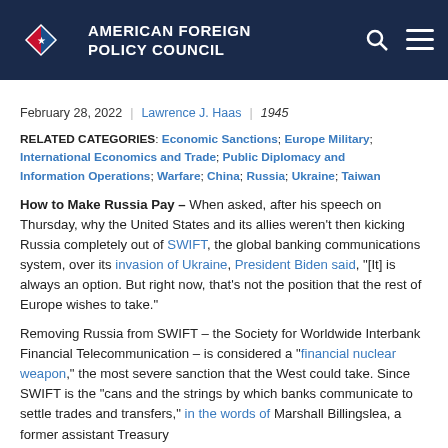AMERICAN FOREIGN POLICY COUNCIL
February 28, 2022 | Lawrence J. Haas | 1945
RELATED CATEGORIES: Economic Sanctions; Europe Military; International Economics and Trade; Public Diplomacy and Information Operations; Warfare; China; Russia; Ukraine; Taiwan
How to Make Russia Pay – When asked, after his speech on Thursday, why the United States and its allies weren't then kicking Russia completely out of SWIFT, the global banking communications system, over its invasion of Ukraine, President Biden said, "[It] is always an option. But right now, that's not the position that the rest of Europe wishes to take."
Removing Russia from SWIFT – the Society for Worldwide Interbank Financial Telecommunication – is considered a "financial nuclear weapon," the most severe sanction that the West could take. Since SWIFT is the "cans and the strings by which banks communicate to settle trades and transfers," in the words of Marshall Billingslea, a former assistant Treasury